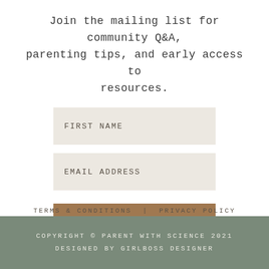Join the mailing list for community Q&A, parenting tips, and early access to resources.
FIRST NAME
EMAIL ADDRESS
SUBMIT
TERMS & CONDITIONS  |  PRIVACY POLICY
COPYRIGHT © PARENT WITH SCIENCE 2021  DESIGNED BY GIRLBOSS DESIGNER